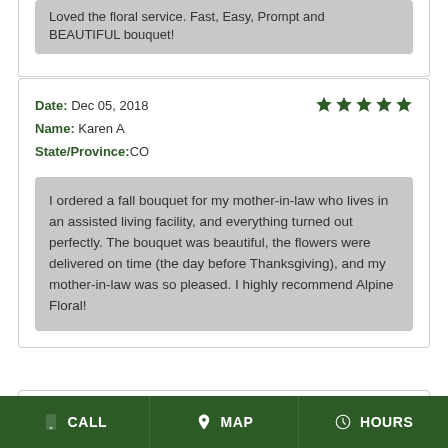Loved the floral service. Fast, Easy, Prompt and BEAUTIFUL bouquet!
Date: Dec 05, 2018
Name: Karen A
State/Province:CO
I ordered a fall bouquet for my mother-in-law who lives in an assisted living facility, and everything turned out perfectly. The bouquet was beautiful, the flowers were delivered on time (the day before Thanksgiving), and my mother-in-law was so pleased. I highly recommend Alpine Floral!
CALL  MAP  HOURS